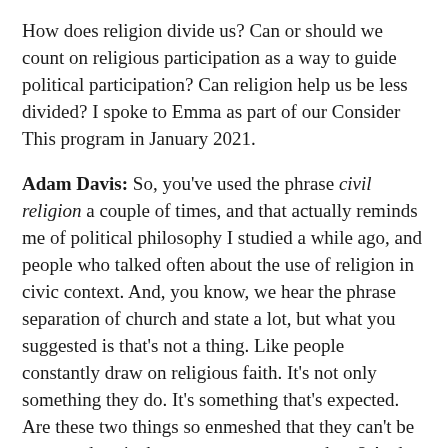How does religion divide us? Can or should we count on religious participation as a way to guide political participation? Can religion help us be less divided? I spoke to Emma as part of our Consider This program in January 2021.
Adam Davis: So, you've used the phrase civil religion a couple of times, and that actually reminds me of political philosophy I studied a while ago, and people who talked often about the use of religion in civic context. And, you know, we hear the phrase separation of church and state a lot, but what you suggested is that's not a thing. Like people constantly draw on religious faith. It's not only something they do. It's something that's expected. Are these two things so enmeshed that they can't be separated, or is there a way to separate them? And now I'm starting to think of the question of identity like how we